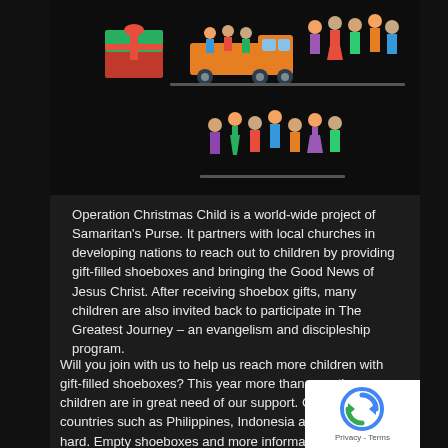[Figure (illustration): Colorful cartoon illustration showing Operation Christmas Child themed images: a gift shoebox, a truck with people, groups of children and adults in various scenes on a black background]
Operation Christmas Child is a world-wide project of Samaritan's Purse. It partners with local churches in developing nations to reach out to children by providing gift-filled shoeboxes and bringing the Good News of Jesus Christ. After receiving shoebox gifts, many children are also invited back to participate in The Greatest Journey – an evangelism and discipleship program.
Will you join with us to help us reach more children with gift-filled shoeboxes? This year more than ever the children are in great need of our support. Covid-19 has hit countries such as Philippines, Indonesia and Cambodia hard. Empty shoeboxes and more information are available from Rose G who will be talking briefly about Operation Christmas Child during the